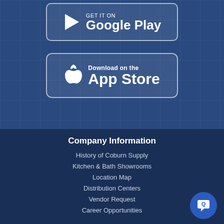[Figure (other): Google Play store download button with play triangle icon, white border on dark blue background]
[Figure (other): Apple App Store download button with Apple logo icon, white border on dark blue background]
Company Information
History of Coburn Supply
Kitchen & Bath Showrooms
Location Map
Distribution Centers
Vendor Request
Career Opportunities
Customer Service